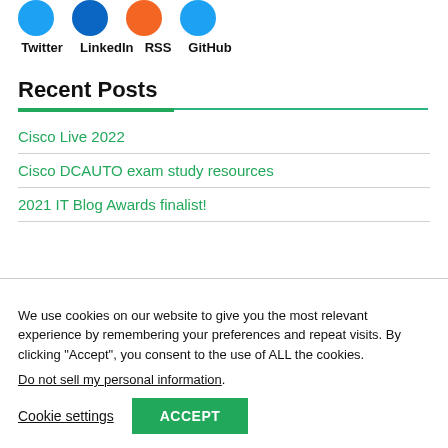[Figure (illustration): Social media icons (Twitter, LinkedIn, RSS, GitHub) shown as colored circles with labels beneath]
Recent Posts
Cisco Live 2022
Cisco DCAUTO exam study resources
2021 IT Blog Awards finalist!
We use cookies on our website to give you the most relevant experience by remembering your preferences and repeat visits. By clicking “Accept”, you consent to the use of ALL the cookies.
Do not sell my personal information.
Cookie settings   ACCEPT